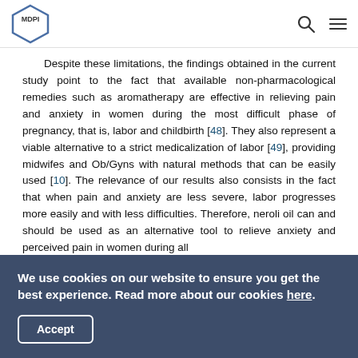MDPI [logo] [search icon] [menu icon]
Despite these limitations, the findings obtained in the current study point to the fact that available non-pharmacological remedies such as aromatherapy are effective in relieving pain and anxiety in women during the most difficult phase of pregnancy, that is, labor and childbirth [48]. They also represent a viable alternative to a strict medicalization of labor [49], providing midwifes and Ob/Gyns with natural methods that can be easily used [10]. The relevance of our results also consists in the fact that when pain and anxiety are less severe, labor progresses more easily and with less difficulties. Therefore, neroli oil can and should be used as an alternative tool to relieve anxiety and perceived pain in women during all
We use cookies on our website to ensure you get the best experience. Read more about our cookies here.
Accept